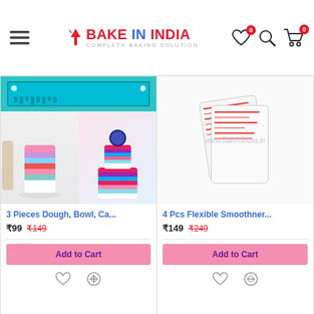[Figure (screenshot): Bake in India e-commerce website header with logo, hamburger menu, heart icon with badge 0, search icon, and cart icon with badge 0]
[Figure (photo): Product card 1: 3 Pieces Dough, Bowl, Ca... showing teal cake scrapers tool on top and two cake photos below]
3 Pieces Dough, Bowl, Ca...
₹99  ₹149
Add to Cart
[Figure (photo): Product card 2: 4 Pcs Flexible Smoothner... showing flexible cake smoothing tools with www.bakeinindia.in watermark]
4 Pcs Flexible Smoothner...
₹149  ₹249
Add to Cart
Dear Clients, Note that we have changed Bake in India website theme for better user experience. Happy Baking!!.
ADD TO CART
BUY NOW